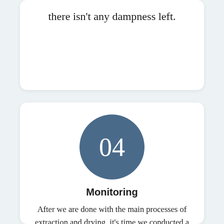there isn't any dampness left.
[Figure (illustration): Circle badge with number 04 on steel blue background]
Monitoring
After we are done with the main processes of extraction and drying, it's time we conducted a final systematic inspection if